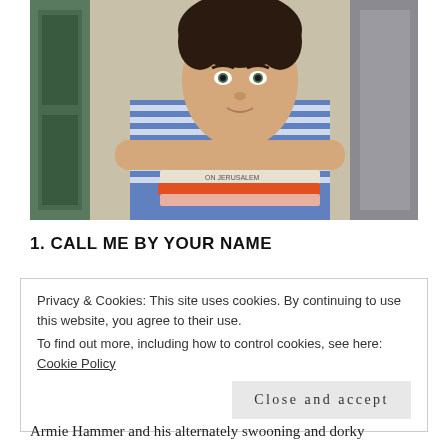[Figure (photo): A young man with dark curly hair wearing a blue and white striped shirt, resting his chin on his crossed arms over a stack of books, with an outdoor background.]
1. CALL ME BY YOUR NAME
Privacy & Cookies: This site uses cookies. By continuing to use this website, you agree to their use.
To find out more, including how to control cookies, see here: Cookie Policy
Close and accept
Armie Hammer and his alternately swooning and dorky